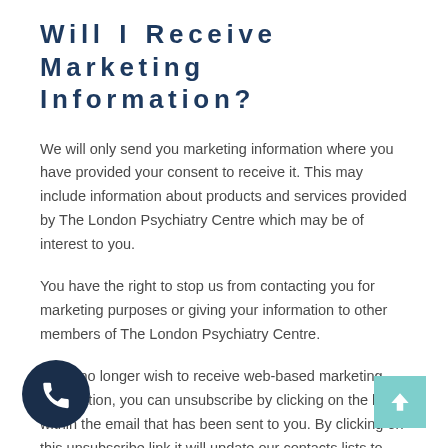Will I Receive Marketing Information?
We will only send you marketing information where you have provided your consent to receive it. This may include information about products and services provided by The London Psychiatry Centre which may be of interest to you.
You have the right to stop us from contacting you for marketing purposes or giving your information to other members of The London Psychiatry Centre.
If you no longer wish to receive web-based marketing information, you can unsubscribe by clicking on the link within the email that has been sent to you. By clicking on this unsubscribe link it will update our contacts lists to ensure that we do not contact you again.
What Is A Cookie?
The Site uses cookies to distinguish you from other users of